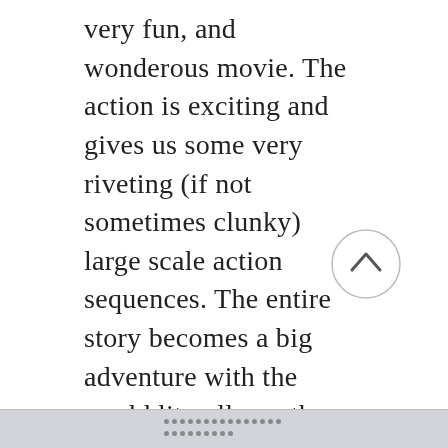very fun, and wonderous movie. The action is exciting and gives us some very riveting (if not sometimes clunky) large scale action sequences. The entire story becomes a big adventure with the world literally on the brink of collapse, making this preferable to see on the big screen, if you can, and feel safe to do so.

While there is some dodgy wirework, and strange detours that come from the elaborate wishing stone featured in the story, WW84 is fun and elaborate enough to paper over its many, many cracks. Washington D.C. acts as a great setting for the film, and the overall visuals (including Diana's golden lasso) make for a dazzling